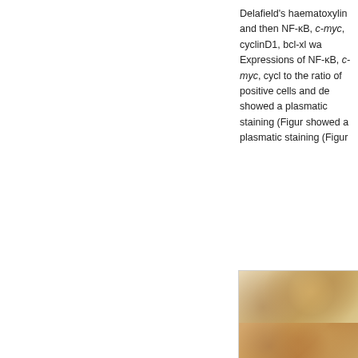Delafield's haematoxylin and then NF-κB, c-myc, cyclinD1, bcl-xl wa Expressions of NF-κB, c-myc, cycl to the ratio of positive cells and de showed a plasmatic staining (Figur showed a plasmatic staining (Figur
[Figure (photo): Microscopy histology images showing immunohistochemical staining of tissue sections, appearing to show plasmatic staining patterns. Two panels visible - upper panel shows brown/amber stained tissue with cellular structures, lower panel partially visible.]